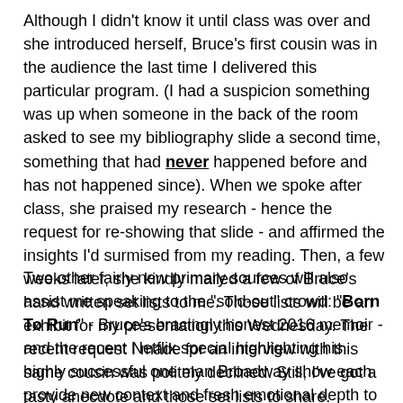Although I didn't know it until class was over and she introduced herself, Bruce's first cousin was in the audience the last time I delivered this particular program. (I had a suspicion something was up when someone in the back of the room asked to see my bibliography slide a second time, something that had never happened before and has not happened since). When we spoke after class, she praised my research - hence the request for re-showing that slide - and affirmed the insights I'd surmised from my reading. Then, a few weeks later, she kindly mailed a few of Bruce's hand written set lists to me. Those lists will be an exhibit for my presentation this Wednesday. The recent request I made for an interview with this same cousin was politely declined. Still, I've got a tasty anecdote and those set lists to share.
Two other fairly new primary sources will also assist me speaking to the "sold-out" crowd: "Born To Run" - Bruce's bracingly honest 2016 memoir - and the recent Netflix special highlighting his highly successful one man Broadway show each provide new context and fresh emotional depth to support my presentation that focuses on Bruce's songwriting craft. And who knows? A serious Bruce fanatic who happens